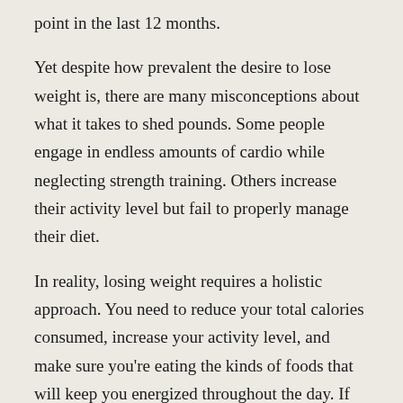point in the last 12 months.
Yet despite how prevalent the desire to lose weight is, there are many misconceptions about what it takes to shed pounds. Some people engage in endless amounts of cardio while neglecting strength training. Others increase their activity level but fail to properly manage their diet.
In reality, losing weight requires a holistic approach. You need to reduce your total calories consumed, increase your activity level, and make sure you're eating the kinds of foods that will keep you energized throughout the day. If you want to lose weight efficiently, protein should play a significant role in your diet. Not only will it help you control your